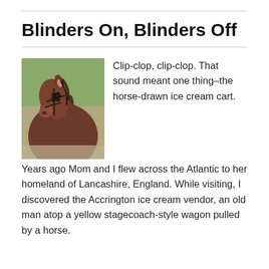Blinders On, Blinders Off
[Figure (photo): Close-up photograph of a brown horse wearing bridle and blinders, with a blurred green background.]
Clip-clop, clip-clop. That sound meant one thing–the horse-drawn ice cream cart.
Years ago Mom and I flew across the Atlantic to her homeland of Lancashire, England. While visiting, I discovered the Accrington ice cream vendor, an old man atop a yellow stagecoach-style wagon pulled by a horse.